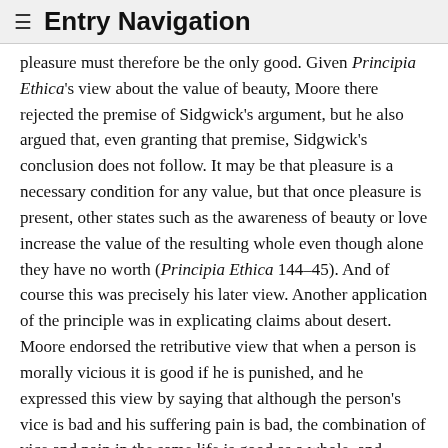≡ Entry Navigation
pleasure must therefore be the only good. Given Principia Ethica's view about the value of beauty, Moore there rejected the premise of Sidgwick's argument, but he also argued that, even granting that premise, Sidgwick's conclusion does not follow. It may be that pleasure is a necessary condition for any value, but that once pleasure is present, other states such as the awareness of beauty or love increase the value of the resulting whole even though alone they have no worth (Principia Ethica 144–45). And of course this was precisely his later view. Another application of the principle was in explicating claims about desert. Moore endorsed the retributive view that when a person is morally vicious it is good if he is punished, and he expressed this view by saying that although the person's vice is bad and his suffering pain is bad, the combination of vice and pain in the same life is good as a whole, and sufficiently so to make the situation on the whole better than if there were vice and no pain (Principia Ethica 263–64). This is in fact a point where Moore's holistic formulation of the principle is positively